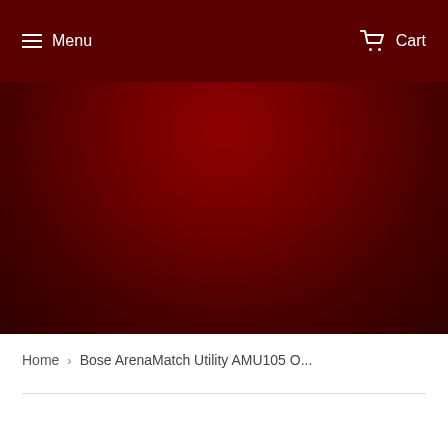Menu   Cart
[Figure (other): Dark crimson/maroon hero banner background image]
Home › Bose ArenaMatch Utility AMU105 O...